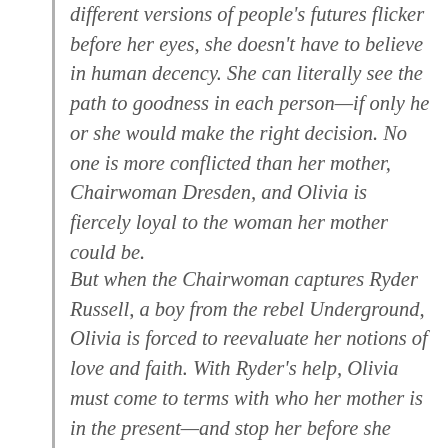different versions of people's futures flicker before her eyes, she doesn't have to believe in human decency. She can literally see the path to goodness in each person—if only he or she would make the right decision. No one is more conflicted than her mother, Chairwoman Dresden, and Olivia is fiercely loyal to the woman her mother could be.
But when the Chairwoman captures Ryder Russell, a boy from the rebel Underground, Olivia is forced to reevaluate her notions of love and faith. With Ryder's help, Olivia must come to terms with who her mother is in the present—and stop her before she destroys